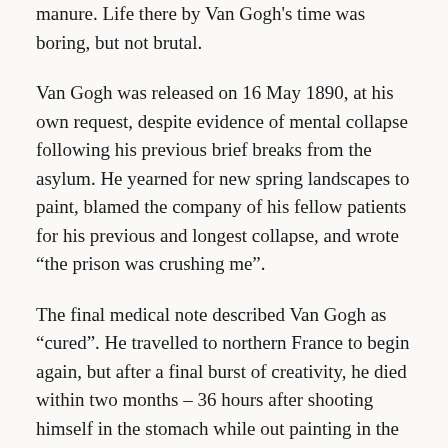manure. Life there by Van Gogh's time was boring, but not brutal.
Van Gogh was released on 16 May 1890, at his own request, despite evidence of mental collapse following his previous brief breaks from the asylum. He yearned for new spring landscapes to paint, blamed the company of his fellow patients for his previous and longest collapse, and wrote “the prison was crushing me”.
The final medical note described Van Gogh as “cured”. He travelled to northern France to begin again, but after a final burst of creativity, he died within two months – 36 hours after shooting himself in the stomach while out painting in the midsummer fields.
“There have been suggestions that his death was an accident or even manslaughter, but that’s nonsense,” Bailey said.